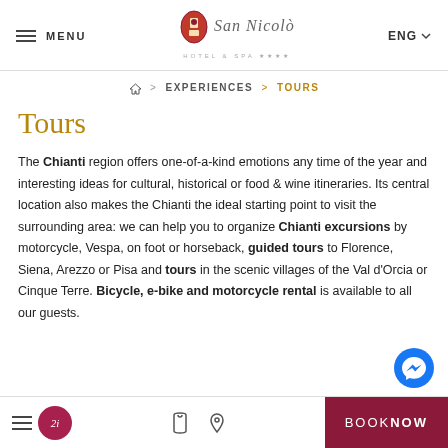MENU | Palazzo San Nicolò Hotel & Spa | ENG
🏠 > EXPERIENCES > TOURS
Tours
The Chianti region offers one-of-a-kind emotions any time of the year and interesting ideas for cultural, historical or food & wine itineraries. Its central location also makes the Chianti the ideal starting point to visit the surrounding area: we can help you to organize Chianti excursions by motorcycle, Vespa, on foot or horseback, guided tours to Florence, Siena, Arezzo or Pisa and tours in the scenic villages of the Val d'Orcia or Cinque Terre. Bicycle, e-bike and motorcycle rental is available to all our guests.
BOOK NOW